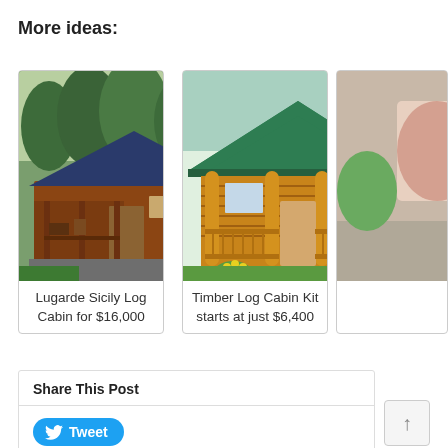More ideas:
[Figure (photo): Lugarde Sicily log cabin with blue-tiled roof, wooden porch with furniture, and surrounding pine trees]
Lugarde Sicily Log Cabin for $16,000
[Figure (photo): Timber log cabin kit with green metal roof, wooden log walls, covered front porch with yellow flowers]
Timber Log Cabin Kit starts at just $6,400
[Figure (photo): Partially visible third card with colorful image, cropped at right edge]
Share This Post
Tweet